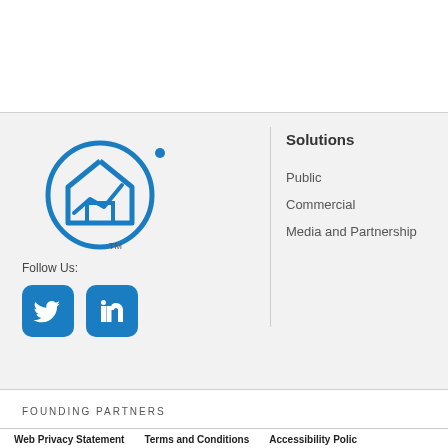[Figure (logo): Circular blue logo with house/home icon and TM mark]
Follow Us:
[Figure (illustration): Twitter and LinkedIn social media icon buttons in blue]
Solutions
Public
Commercial
Media and Partnership
FOUNDING PARTNERS
Web Privacy Statement   Terms and Conditions   Accessibility Polic